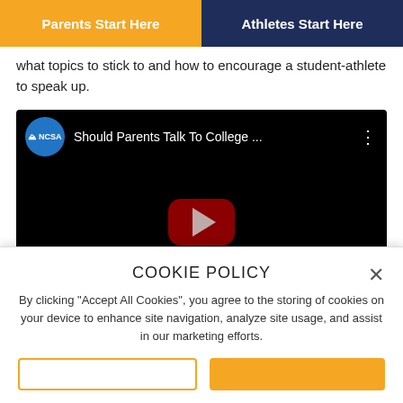Parents Start Here | Athletes Start Here
what topics to stick to and how to encourage a student-athlete to speak up.
[Figure (screenshot): Embedded YouTube video thumbnail showing NCSA logo and title 'Should Parents Talk To College ...' with play button on black background]
COOKIE POLICY
By clicking "Accept All Cookies", you agree to the storing of cookies on your device to enhance site navigation, analyze site usage, and assist in our marketing efforts.